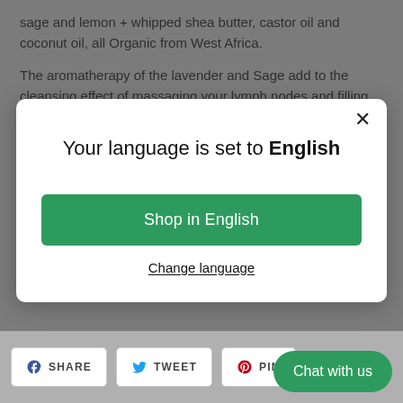sage and lemon + whipped shea butter, castor oil and coconut oil, all Organic from West Africa.
The aromatherapy of the lavender and Sage add to the cleansing effect of massaging your lymph nodes and filling your body with positive energy and relaxation.
[Figure (screenshot): A modal dialog overlay on a web page. The modal has a white background, an X close button in the top right, the text 'Your language is set to English', a green 'Shop in English' button, and an underlined 'Change language' link.]
Shop in English
Change language
SHARE  TWEET  PIN
Chat with us